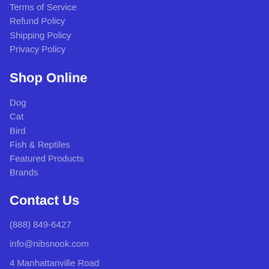Terms of Service
Refund Policy
Shipping Policy
Privacy Policy
Shop Online
Dog
Cat
Bird
Fish & Reptiles
Featured Products
Brands
Contact Us
(888) 849-6427
info@nibsnook.com
4 Manhattanville Road
Purchase, NY 10577